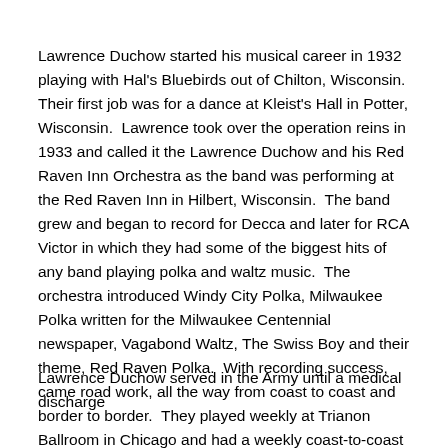Lawrence Duchow started his musical career in 1932 playing with Hal's Bluebirds out of Chilton, Wisconsin.  Their first job was for a dance at Kleist's Hall in Potter, Wisconsin.  Lawrence took over the operation reins in 1933 and called it the Lawrence Duchow and his Red Raven Inn Orchestra as the band was performing at the Red Raven Inn in Hilbert, Wisconsin.  The band grew and began to record for Decca and later for RCA Victor in which they had some of the biggest hits of any band playing polka and waltz music.  The orchestra introduced Windy City Polka, Milwaukee Polka written for the Milwaukee Centennial newspaper, Vagabond Waltz, The Swiss Boy and their theme, Red Raven Polka.  With recording success, came road work, all the way from coast to coast and border to border.  They played weekly at Trianon Ballroom in Chicago and had a weekly coast-to-coast radio broadcast on WGN.  During the war, many servicemen carried Red Raven records with them overseas.
Lawrence Duchow served in the Army until a medical discharge